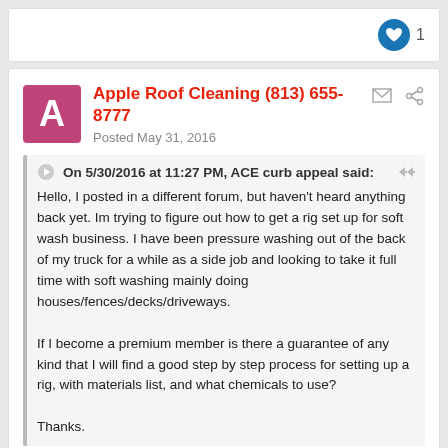[Figure (other): Like button with heart icon and count of 1]
Apple Roof Cleaning (813) 655-8777
Posted May 31, 2016
On 5/30/2016 at 11:27 PM, ACE curb appeal said:
Hello, I posted in a different forum, but haven't heard anything back yet. Im trying to figure out how to get a rig set up for soft wash business. I have been pressure washing out of the back of my truck for a while as a side job and looking to take it full time with soft washing mainly doing houses/fences/decks/driveways.

If I become a premium member is there a guarantee of any kind that I will find a good step by step process for setting up a rig, with materials list, and what chemicals to use?

Thanks.
Every rig is different, since some of us have trailers, some have flatbed